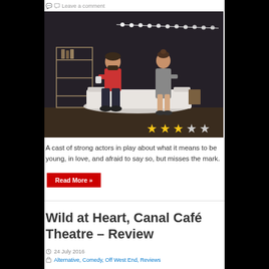Leave a comment
[Figure (photo): Two actors on stage: a man in red shirt and jeans sitting on a white sofa/mattress holding a drink, and a woman in a grey dress sitting beside him. Dark background with string lights and a shelving unit with bottles. Three gold stars and two grey stars overlaid at bottom right.]
A cast of strong actors in play about what it means to be young, in love, and afraid to say so, but misses the mark.
Read More »
Wild at Heart, Canal Café Theatre – Review
24 July 2016
Alternative, Comedy, Off West End, Reviews